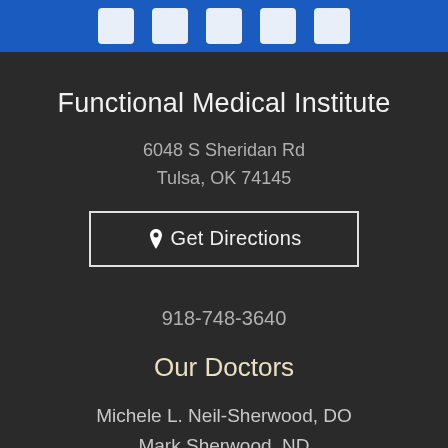[Figure (other): Blue header bar with social media icons (Facebook, Google, etc.) shown as white squares]
Functional Medical Institute
6048 S Sheridan Rd
Tulsa, OK 74145
Get Directions
918-748-3640
Our Doctors
Michele L. Neil-Sherwood, DO
Mark Sherwood, ND